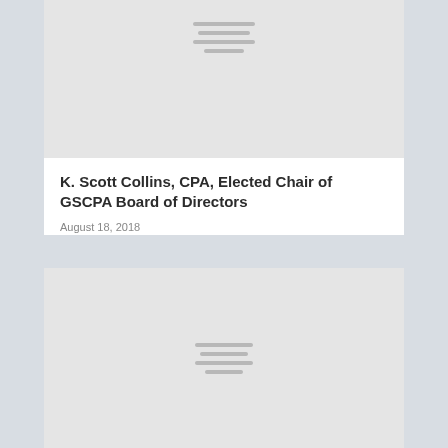[Figure (illustration): Gray placeholder image with horizontal lines near top center]
K. Scott Collins, CPA, Elected Chair of GSCPA Board of Directors
August 18, 2018
[Figure (illustration): Gray placeholder image with horizontal lines in center]